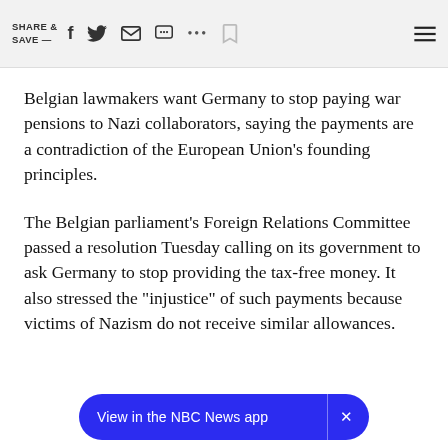SHARE & SAVE —
Belgian lawmakers want Germany to stop paying war pensions to Nazi collaborators, saying the payments are a contradiction of the European Union's founding principles.
The Belgian parliament's Foreign Relations Committee passed a resolution Tuesday calling on its government to ask Germany to stop providing the tax-free money. It also stressed the "injustice" of such payments because victims of Nazism do not receive similar allowances.
View in the NBC News app